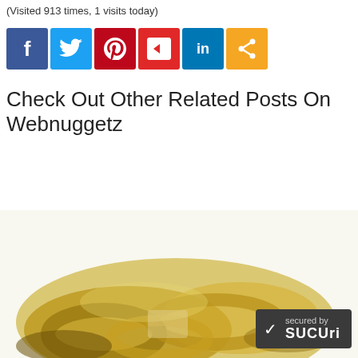(Visited 913 times, 1 visits today)
[Figure (other): Social sharing buttons: Facebook (blue), Twitter (light blue), Pinterest (dark red), Flipboard (red), LinkedIn (dark blue), Share (orange)]
Check Out Other Related Posts On Webnuggetz
[Figure (photo): Partial photo of gold jewelry (rings or pendants) on white background, with Sucuri security badge overlay in bottom right corner]